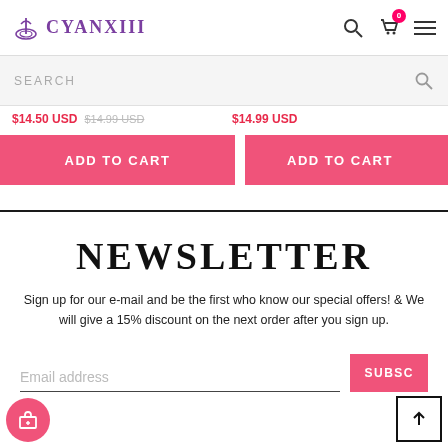CYANX111
SEARCH
$14.50 USD  $14.99 USD
$14.99 USD
ADD TO CART
ADD TO CART
NEWSLETTER
Sign up for our e-mail and be the first who know our special offers! & We will give a 15% discount on the next order after you sign up.
Email address
SUBSC…